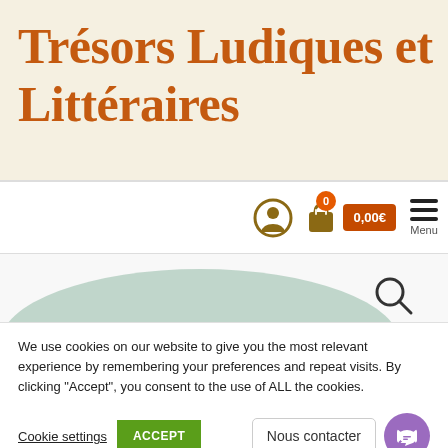Trésors Ludiques et Littéraires
[Figure (screenshot): Navigation bar with user icon, shopping cart icon with badge showing 0 items and price 0,00€, and hamburger menu icon with 'Menu' label]
[Figure (illustration): Decorative green hill/mound shape at bottom of section with search magnifying glass icon on the right]
We use cookies on our website to give you the most relevant experience by remembering your preferences and repeat visits. By clicking "Accept", you consent to the use of ALL the cookies.
Cookie settings
ACCEPT
Nous contacter